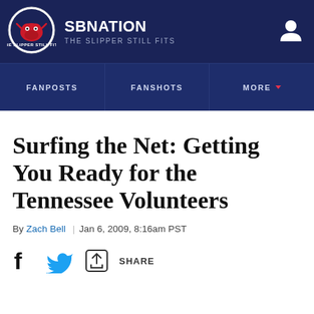SB NATION — THE SLIPPER STILL FITS
FANPOSTS | FANSHOTS | MORE
Surfing the Net: Getting You Ready for the Tennessee Volunteers
By Zach Bell | Jan 6, 2009, 8:16am PST
SHARE